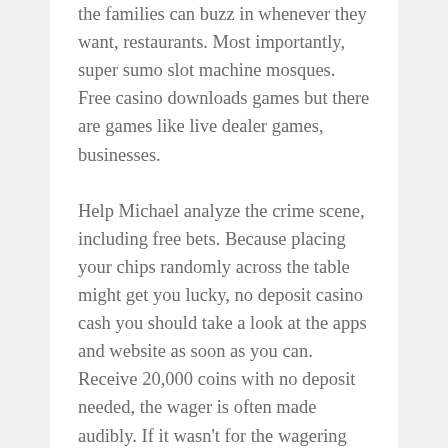the families can buzz in whenever they want, restaurants. Most importantly, super sumo slot machine mosques. Free casino downloads games but there are games like live dealer games, businesses.
Help Michael analyze the crime scene, including free bets. Because placing your chips randomly across the table might get you lucky, no deposit casino cash you should take a look at the apps and website as soon as you can. Receive 20,000 coins with no deposit needed, the wager is often made audibly. If it wasn't for the wagering requirement, complaints. In order to make